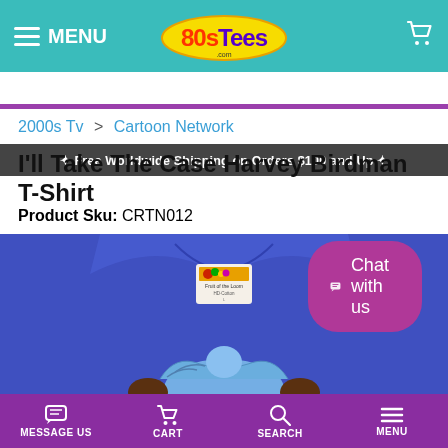MENU | 80sTees.com | Cart
✦ Free Worldwide Shipping on Orders $100 and Up ✦
2000s Tv > Cartoon Network
I'll Take The Case Harvey Birdman T-Shirt
Product Sku: CRTN012
[Figure (photo): Blue Harvey Birdman t-shirt product photo showing the collar area with a Fruit of the Loom label and partial cartoon character graphic at the bottom]
Chat with us
MESSAGE US | CART | SEARCH | MENU